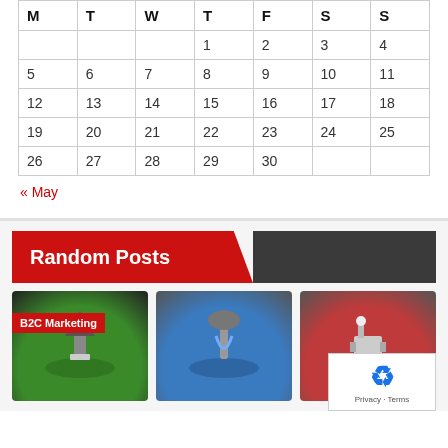| M | T | W | T | F | S | S |
| --- | --- | --- | --- | --- | --- | --- |
|  |  |  | 1 | 2 | 3 | 4 |
| 5 | 6 | 7 | 8 | 9 | 10 | 11 |
| 12 | 13 | 14 | 15 | 16 | 17 | 18 |
| 19 | 20 | 21 | 22 | 23 | 24 | 25 |
| 26 | 27 | 28 | 29 | 30 |  |  |
« May
Random Posts
[Figure (photo): Three 3D rendered figures on colored circular bases (green, blue, red), one labeled B2C Marketing]
[Figure (logo): reCAPTCHA logo with Privacy - Terms text]